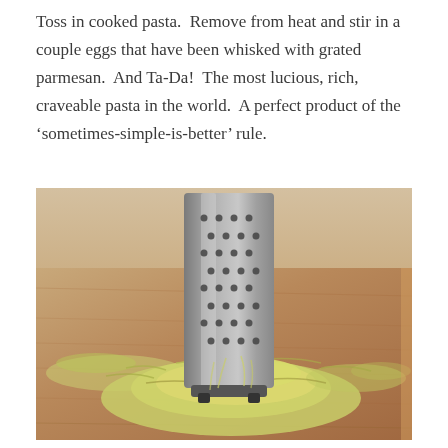Toss in cooked pasta.  Remove from heat and stir in a couple eggs that have been whisked with grated parmesan.  And Ta-Da!  The most lucious, rich, craveable pasta in the world.  A perfect product of the ‘sometimes-simple-is-better’ rule.
[Figure (photo): A box grater sitting on a wooden cutting board with a large pile of freshly grated yellow-green zucchini/courgette spread around its base.]